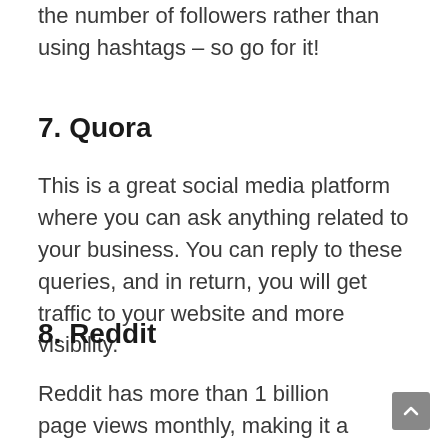the number of followers rather than using hashtags – so go for it!
7. Quora
This is a great social media platform where you can ask anything related to your business. You can reply to these queries, and in return, you will get traffic to your website and more visibility.
8. Reddit
Reddit has more than 1 billion page views monthly, making it a very important social media platform for